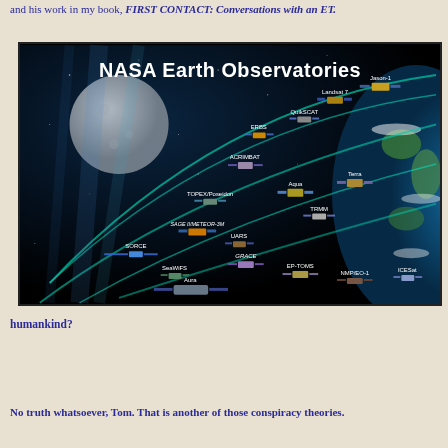and his work in my book, FIRST CONTACT: Conversations with an ET.
[Figure (illustration): NASA Earth Observatories diagram showing multiple satellites orbiting Earth, including Jason-1, Landsat 7, QuikSCAT, ERBS, ACRIMBAT, Aqua, Terra, TOPEX/Poseidon, TRMM, SAGE II/METEOR-3M, UARS, SORCE, GRACE, SeaWiFS, EP-TOMS, NMP/EO-1, ICESat, and Aura, depicted against a backdrop of Earth, the Moon, and space.]
humankind?
No truth whatsoever, Tom. That is another of those conspiracy theories.